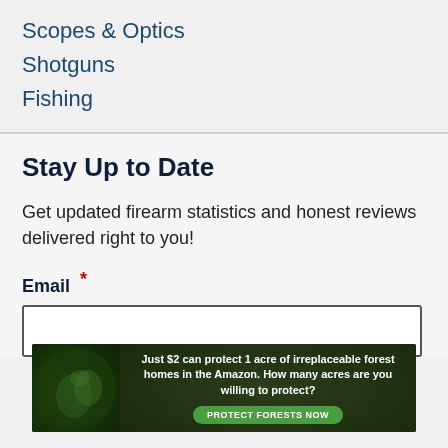Scopes & Optics
Shotguns
Fishing
Stay Up to Date
Get updated firearm statistics and honest reviews delivered right to you!
Email *
[Figure (infographic): Advertisement banner: Just $2 can protect 1 acre of irreplaceable forest homes in the Amazon. How many acres are you willing to protect? PROTECT FORESTS NOW]